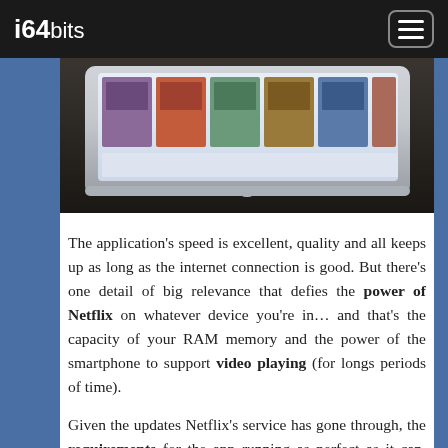i64bits
[Figure (photo): Tablet device showing media content on screen, placed on a dark surface, photographed from a low angle]
The application's speed is excellent, quality and all keeps up as long as the internet connection is good. But there's one detail of big relevance that defies the power of Netflix on whatever device you're in… and that's the capacity of your RAM memory and the power of the smartphone to support video playing (for longs periods of time).
Given the updates Netflix's service has gone through, the requirements for the app running as perfect as it can, have expanded a little bit, nonetheless they are basically